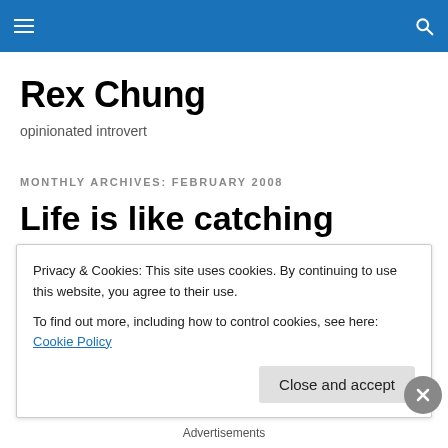Rex Chung - navigation header with hamburger menu and search icon
Rex Chung
opinionated introvert
MONTHLY ARCHIVES: FEBRUARY 2008
Life is like catching waves
When I'm at the beach, looking at the waves coming and
Privacy & Cookies: This site uses cookies. By continuing to use this website, you agree to their use.
To find out more, including how to control cookies, see here: Cookie Policy
Close and accept
Advertisements